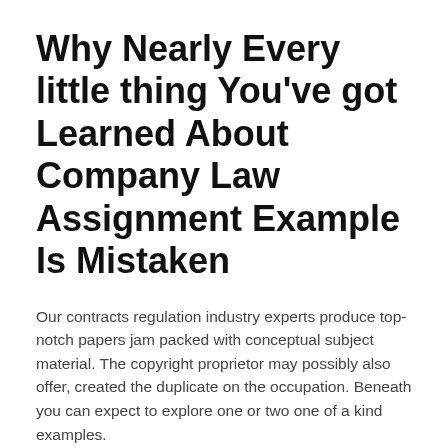Why Nearly Every little thing You've got Learned About Company Law Assignment Example Is Mistaken
Our contracts regulation industry experts produce top-notch papers jam packed with conceptual subject material. The copyright proprietor may possibly also offer, created the duplicate on the occupation. Beneath you can expect to explore one or two one of a kind examples.
You are going to have number of organization interactions involving some form of contractual commitment or obligation. The need to obtain a manifestly abnormal edge was additional just ahead of promulgation in order to limit the range of this provision to notably egregious conditions. Exclusive English language content from...